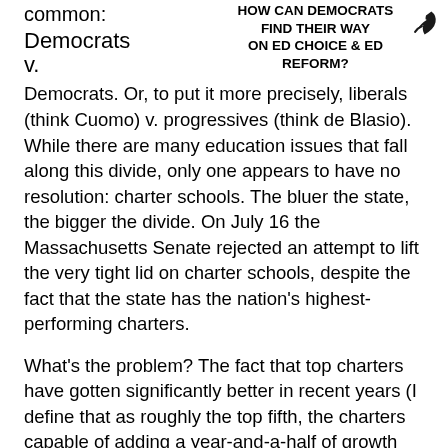common:
HOW CAN DEMOCRATS FIND THEIR WAY ON ED CHOICE & ED REFORM?
Democrats
v.
Democrats. Or, to put it more precisely, liberals (think Cuomo) v. progressives (think de Blasio). While there are many education issues that fall along this divide, only one appears to have no resolution: charter schools. The bluer the state, the bigger the divide. On July 16 the Massachusetts Senate rejected an attempt to lift the very tight lid on charter schools, despite the fact that the state has the nation's highest-performing charters.
What's the problem? The fact that top charters have gotten significantly better in recent years (I define that as roughly the top fifth, the charters capable of adding a year-and-a-half of growth for